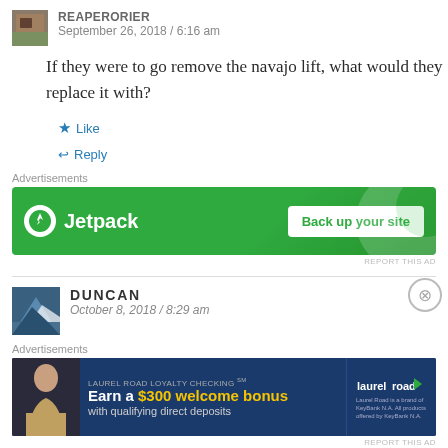REAPERORIER / September 26, 2018 / 6:16 am
If they were to go remove the navajo lift, what would they replace it with?
★ Like
↩ Reply
Advertisements
[Figure (other): Jetpack advertisement banner with green background. Shows Jetpack logo and 'Back up your site' button.]
REPORT THIS AD
DUNCAN
October 8, 2018 / 8:29 am
Advertisements
[Figure (other): Laurel Road Loyalty Checking advertisement. Blue background. Text: LAUREL ROAD LOYALTY CHECKING℠ Earn a $300 welcome bonus with qualifying direct deposits. Laurel Road logo on right side.]
REPORT THIS AD